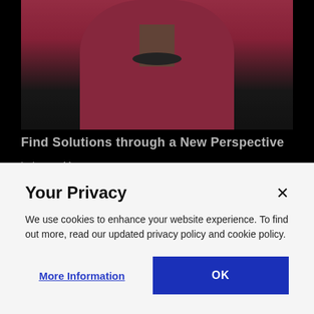[Figure (photo): Cropped photo of a person wearing a bright pink/red jacket with a dark top and necklace, shown from shoulders up against a dark background.]
Find Solutions through a New Perspective
> Learn More
[Figure (photo): Architectural or structural photo showing dark geometric shapes and diagonal lines, resembling beams or scaffolding.]
Your Privacy
We use cookies to enhance your website experience. To find out more, read our updated privacy policy and cookie policy.
More Information
OK